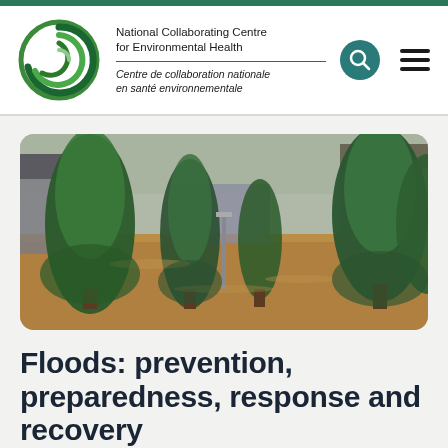National Collaborating Centre for Environmental Health / Centre de collaboration nationale en santé environnementale
[Figure (photo): Aerial view of a flooded residential neighbourhood with tall coniferous trees rising above brown floodwaters, houses and streets submerged]
Floods: prevention, preparedness, response and recovery